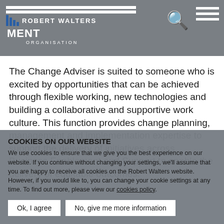ROBERT WALTERS MANAGEMENT ORGANISATION
The Change Adviser is suited to someone who is excited by opportunities that can be achieved through flexible working, new technologies and building a collaborative and supportive work culture. This function provides change planning, management and implementation expertise to support the delivery of initiatives across Business Enablement and Support to enable the delivery of equitable outcomes.
COOKIES ON OUR WEBSITE
We use cookies to ensure that we give you the best experience on our website. If you continue without changing your settings, we'll assume that you are happy to receive all cookies on the Robert Walters website. However, if you would like to, you can change your cookie settings at any time. To find out more, please view our cookies policy.
Ok, I agree | No, give me more information